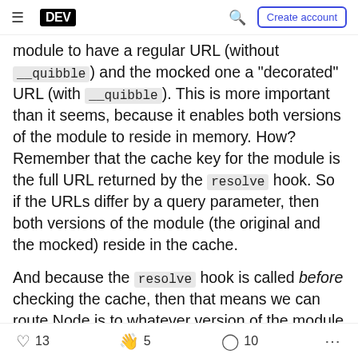DEV | Search | Create account
module to have a regular URL (without __quibble) and the mocked one a "decorated" URL (with __quibble). This is more important than it seems, because it enables both versions of the module to reside in memory. How? Remember that the cache key for the module is the full URL returned by the resolve hook. So if the URLs differ by a query parameter, then both versions of the module (the original and the mocked) reside in the cache.
And because the resolve hook is called before checking the cache, then that means we can route Node.js to whatever version of the module we want,
13 likes | 5 unicorns | 10 bookmarks